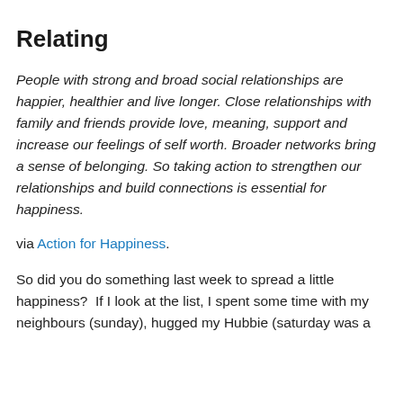Relating
People with strong and broad social relationships are happier, healthier and live longer. Close relationships with family and friends provide love, meaning, support and increase our feelings of self worth. Broader networks bring a sense of belonging. So taking action to strengthen our relationships and build connections is essential for happiness.
via Action for Happiness.
So did you do something last week to spread a little happiness?  If I look at the list, I spent some time with my neighbours (sunday), hugged my Hubbie (saturday was a